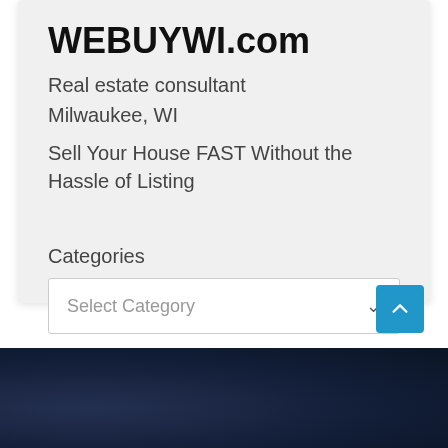WEBUYWI.com
Real estate consultant
Milwaukee, WI
Sell Your House FAST Without the Hassle of Listing
Categories
Select Category